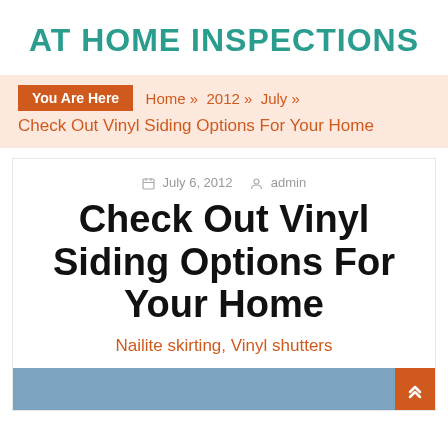AT HOME INSPECTIONS
You Are Here   Home » 2012 » July » Check Out Vinyl Siding Options For Your Home
July 6, 2012   admin
Check Out Vinyl Siding Options For Your Home
Nailite skirting, Vinyl shutters
[Figure (photo): Blue-gray image strip at bottom of article card]